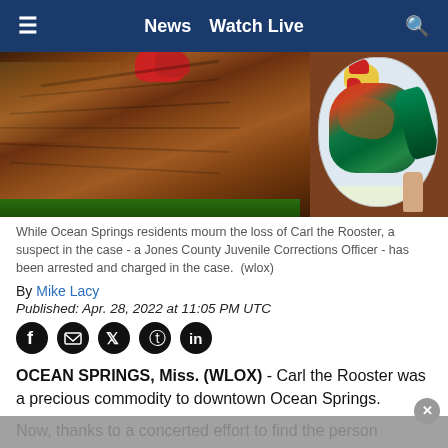≡  News  Watch Live  🔍
[Figure (photo): Close-up photo of Carl the Rooster (a brown/auburn rooster) next to a hand-drawn illustration of a rooster on a circular white background with colorful feathers]
While Ocean Springs residents mourn the loss of Carl the Rooster, a suspect in the case - a Jones County Juvenile Corrections Officer - has been arrested and charged in the case. (wlox)
By Mike Lacy
Published: Apr. 28, 2022 at 11:05 PM UTC
OCEAN SPRINGS, Miss. (WLOX) - Carl the Rooster was a precious commodity to downtown Ocean Springs.
Now, thanks to a concerted effort to find the person